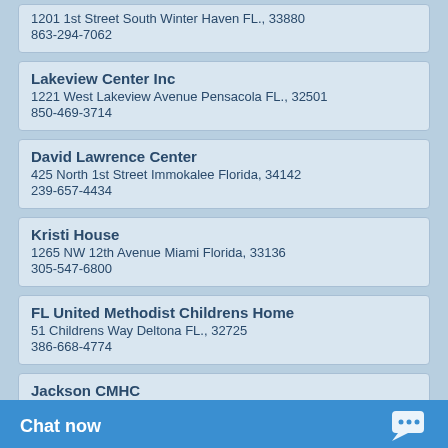1201 1st Street South Winter Haven FL., 33880
863-294-7062
Lakeview Center Inc
1221 West Lakeview Avenue Pensacola FL., 32501
850-469-3714
David Lawrence Center
425 North 1st Street Immokalee Florida, 34142
239-657-4434
Kristi House
1265 NW 12th Avenue Miami Florida, 33136
305-547-6800
FL United Methodist Childrens Home
51 Childrens Way Deltona FL., 32725
386-668-4774
Jackson CMHC
20201 NW 37th Avenue Opa Locka FL., 33054
786-466-2700
Families First of Florida
4902 Eisenhower Boulev...
813-290-8560